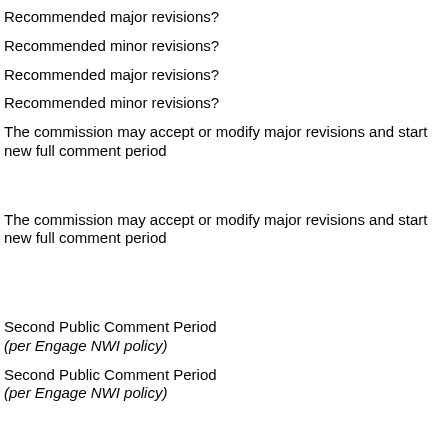Recommended major revisions?
Recommended minor revisions?
Recommended major revisions?
Recommended minor revisions?
The commission may accept or modify major revisions and start new full comment period
The commission may accept or modify major revisions and start new full comment period
Second Public Comment Period
(per Engage NWI policy)
Second Public Comment Period
(per Engage NWI policy)